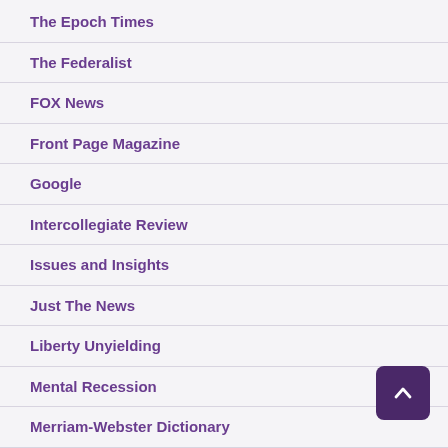The Epoch Times
The Federalist
FOX News
Front Page Magazine
Google
Intercollegiate Review
Issues and Insights
Just The News
Liberty Unyielding
Mental Recession
Merriam-Webster Dictionary
National File